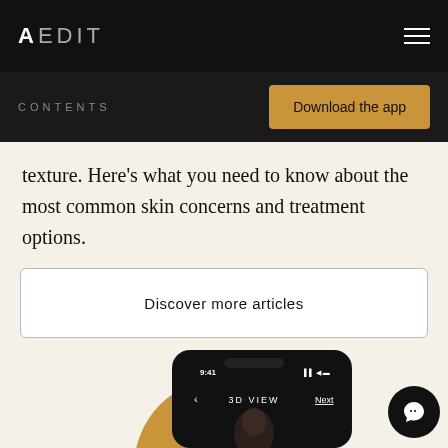AEDIT
CONTENTS
Download the app
texture. Here's what you need to know about the most common skin concerns and treatment options.
Discover more articles
[Figure (screenshot): Smartphone mockup showing AEDIT app with '3D VIEW' screen, time 9:41, with a person's face visible, and a gold circular background element. A chat support button is visible in the lower right.]